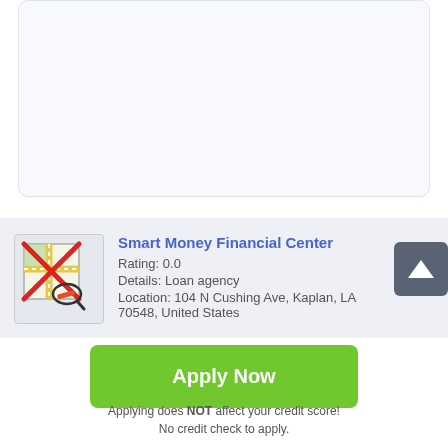[Figure (other): Top card area, mostly blank with light background]
[Figure (illustration): Map icon with red X crossed out and a magnifying glass overlay]
Smart Money Financial Center
Rating: 0.0
Details: Loan agency
Location: 104 N Cushing Ave, Kaplan, LA 70548, United States
Apply Now
Applying does NOT affect your credit score!
No credit check to apply.